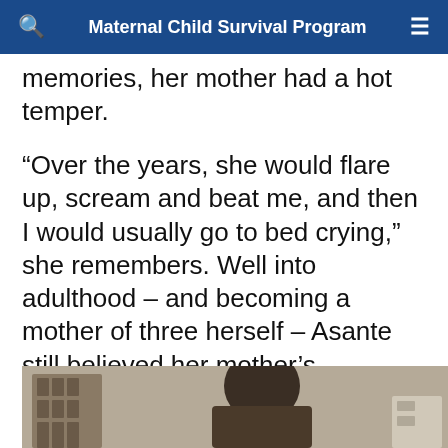Maternal Child Survival Program
memories, her mother had a hot temper.
“Over the years, she would flare up, scream and beat me, and then I would usually go to bed crying,” she remembers. Well into adulthood – and becoming a mother of three herself – Asante still believed her mother’s parenting style was a good way to raise children.
[Figure (photo): A person photographed indoors, with shelving or furniture visible in the background.]